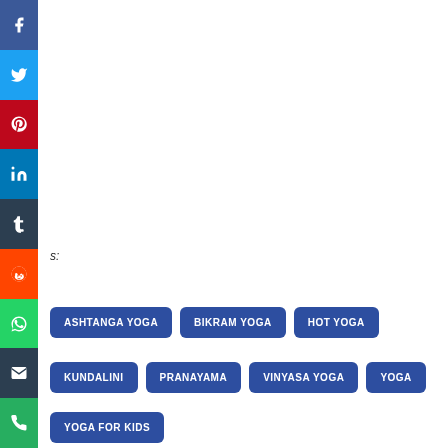[Figure (infographic): Vertical social media share sidebar with icons for Facebook (blue), Twitter (light blue), Pinterest (red), LinkedIn (blue), Tumblr (dark), Reddit (orange-red), WhatsApp (green), Email (dark), Phone (green)]
ASHTANGA YOGA
BIKRAM YOGA
HOT YOGA
KUNDALINI
PRANAYAMA
VINYASA YOGA
YOGA
YOGA FOR KIDS